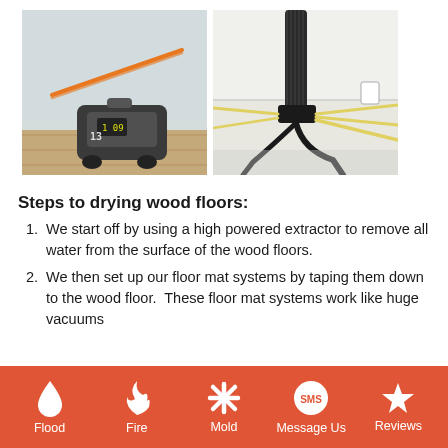[Figure (photo): Two side-by-side photos of water damage restoration equipment: left photo shows a high-powered extractor machine on a wood floor with plastic sheeting and orange hose; right photo shows a floor mat drying system with tubes attached to a ceiling/wall area.]
Steps to drying wood floors:
We start off by using a high powered extractor to remove all water from the surface of the wood floors.
We then set up our floor mat systems by taping them down to the wood floor.  These floor mat systems work like huge vacuums
Flood   Fire   Mold   Message Us   Reviews